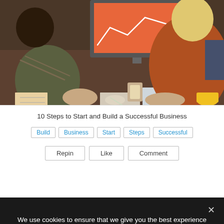[Figure (photo): People sitting around a conference table working on documents and materials, with a large monitor in the background showing an orange screen with a white line graph]
10 Steps to Start and Build a Successful Business
Build
Business
Start
Steps
Successful
Repin  Like  Comment
admin
We use cookies to ensure that we give you the best experience on our website. If you continue to use this site we will assume that you are happy with it.
Ok